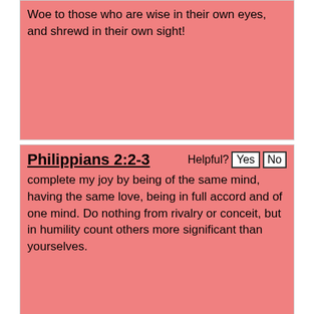Woe to those who are wise in their own eyes, and shrewd in their own sight!
Philippians 2:2-3
complete my joy by being of the same mind, having the same love, being in full accord and of one mind. Do nothing from rivalry or conceit, but in humility count others more significant than yourselves.
Romans 15:5